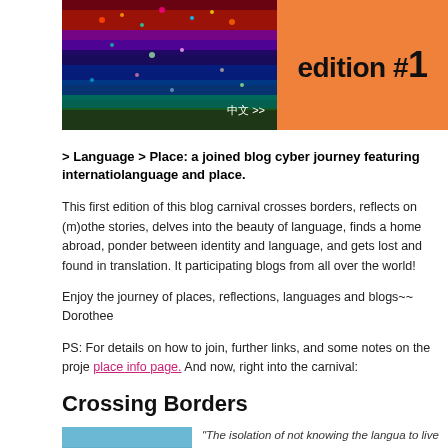[Figure (photo): Banner image with colorful satellite/topographic map on left and orange background with 'edition #1' text on right]
> Language > Place: a joined blog cyber journey featuring international language and place.
This first edition of this blog carnival crosses borders, reflects on (m)other stories, delves into the beauty of language, finds a home abroad, ponders between identity and language, and gets lost and found in translation. It is participating blogs from all over the world!
Enjoy the journey of places, reflections, languages and blogs~~
Dorothee
PS: For details on how to join, further links, and some notes on the project: place info page. And now, right into the carnival:
Crossing Borders
[Figure (photo): Blue sky/water photo at bottom left]
"The isolation of not knowing the language... to live some days like that," notes Steve